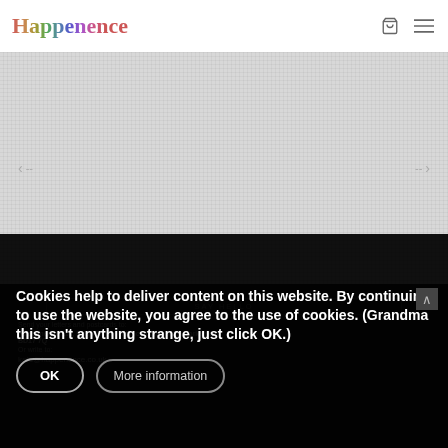Happenence
[Figure (screenshot): Hero banner / slideshow area with a dotted/grid texture grey background and navigation arrows showing '< --' on left and '-- >' on right]
SAY HELLO
Send your letters and postcards to:
Happenence Ltd, Brig Mill Providence Lane, West Yorkshire BD17 70
Or write to:
kate@happenence.co.uk
Cookies help to deliver content on this website. By continuing to use the website, you agree to the use of cookies. (Grandma this isn't anything strange, just click OK.)
OK
More information